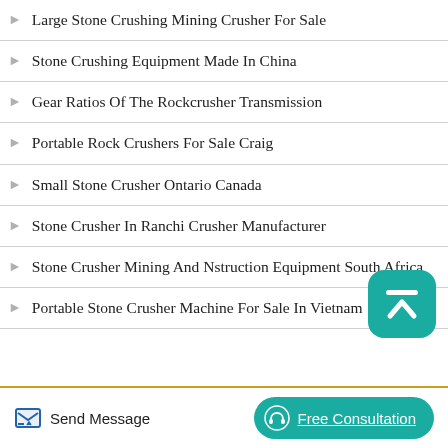Large Stone Crushing Mining Crusher For Sale
Stone Crushing Equipment Made In China
Gear Ratios Of The Rockcrusher Transmission
Portable Rock Crushers For Sale Craig
Small Stone Crusher Ontario Canada
Stone Crusher In Ranchi Crusher Manufacturer
Stone Crusher Mining And Nstruction Equipment South Africa
Portable Stone Crusher Machine For Sale In Vietnam
Send Message   Free Consultation